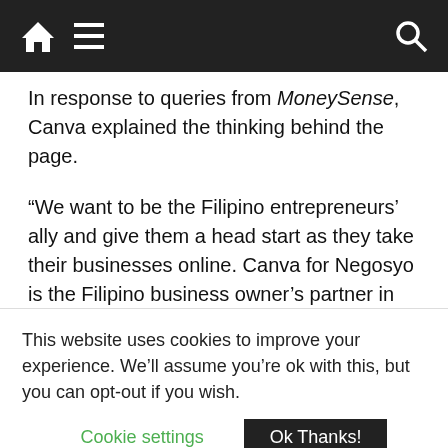Navigation bar with home, menu, and search icons
In response to queries from MoneySense, Canva explained the thinking behind the page.
“We want to be the Filipino entrepreneurs’ ally and give them a head start as they take their businesses online. Canva for Negosyo is the Filipino business owner’s partner in creativity and productivity for their digital presence,” it said.
Canva noted that Pinoy micro, small, and medium enterprises are now transitioning their businesses online and many business owners find themselves
This website uses cookies to improve your experience. We’ll assume you’re ok with this, but you can opt-out if you wish.
Cookie settings  Ok Thanks!